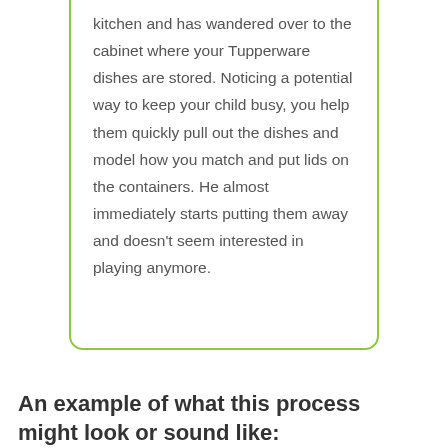kitchen and has wandered over to the cabinet where your Tupperware dishes are stored. Noticing a potential way to keep your child busy, you help them quickly pull out the dishes and model how you match and put lids on the containers. He almost immediately starts putting them away and doesn't seem interested in playing anymore.
An example of what this process might look or sound like: